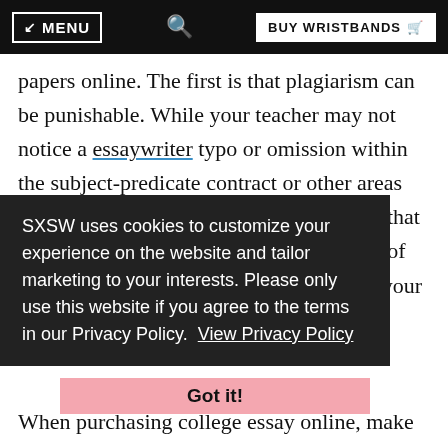MENU | [search] | BUY WRISTBANDS
papers online. The first is that plagiarism can be punishable. While your teacher may not notice a essaywriter typo or omission within the subject-predicate contract or other areas They will certainly be worried if they see that you copied content from a different piece of writing. If you don't want to be a risk for your grade, there are some ways to be sure that you've got an original piece of writing.
When purchasing college essay online, make sure you verify the authenticity of the work. Plagiarism means plagiarism where you copy the work of another writer and then claim it as your original work. It's like offering a present to your mom for Christmas, then your brother takes the gift and making it appear as his own. There's a chance that
SXSW uses cookies to customize your experience on the website and tailor marketing to your interests. Please only use this website if you agree to the terms in our Privacy Policy. View Privacy Policy
Got it!